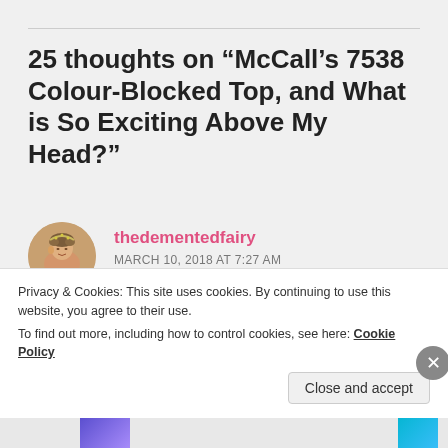25 thoughts on “McCall’s 7538 Colour-Blocked Top, and What is So Exciting Above My Head?”
[Figure (photo): Circular avatar photo of a woman with an updo hairstyle and headpiece, viewed from the side]
thedementedfairy
MARCH 10, 2018 AT 7:27 AM
Lovely- I do love me some colour blocking and angled pieces too! Style Arc Tootsie is a great one, I have several of them [major fan
Privacy & Cookies: This site uses cookies. By continuing to use this website, you agree to their use.
To find out more, including how to control cookies, see here: Cookie Policy
Close and accept